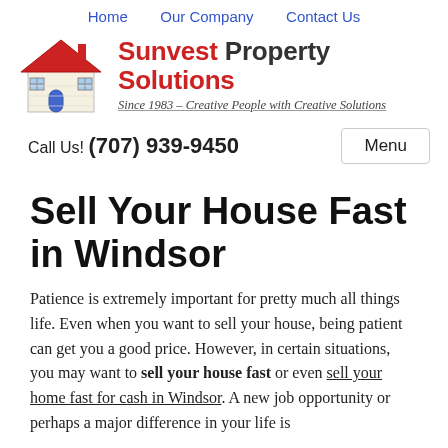Home   Our Company   Contact Us
[Figure (logo): Sunvest Property Solutions logo with house illustration and tagline: Since 1983 – Creative People with Creative Solutions]
Call Us! (707) 939-9450   Menu
Sell Your House Fast in Windsor
Patience is extremely important for pretty much all things life. Even when you want to sell your house, being patient can get you a good price. However, in certain situations, you may want to sell your house fast or even sell your home fast for cash in Windsor. A new job opportunity or perhaps a major difference in your life is